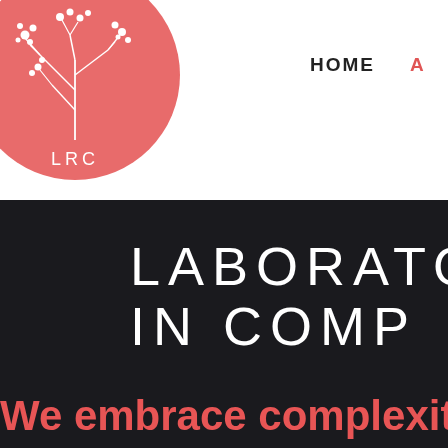[Figure (logo): LRC logo — salmon/coral circle with white botanical branch illustration and 'LRC' text below]
HOME A
LABORATORY IN COMP
We embrace complexit